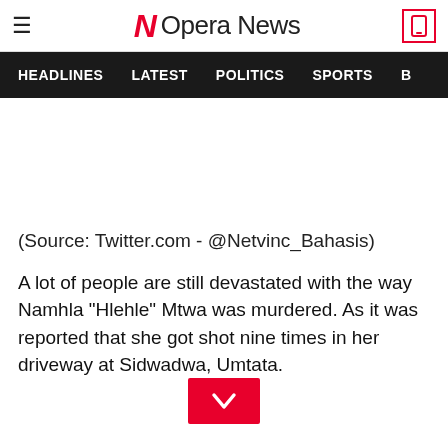Opera News
HEADLINES  LATEST  POLITICS  SPORTS
(Source: Twitter.com - @Netvinc_Bahasis)
A lot of people are still devastated with the way Namhla "Hlehle" Mtwa was murdered. As it was reported that she got shot nine times in her driveway at Sidwadwa, Umtata.